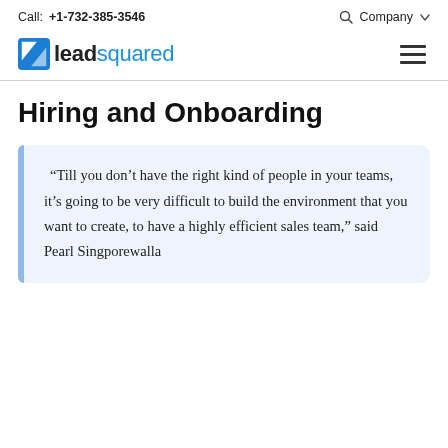Call: +1-732-385-3546   Company
[Figure (logo): LeadSquared logo with blue square icon and text 'leadsquared']
Hiring and Onboarding
“Till you don’t have the right kind of people in your teams, it’s going to be very difficult to build the environment that you want to create, to have a highly efficient sales team,” said Pearl Singporewalla